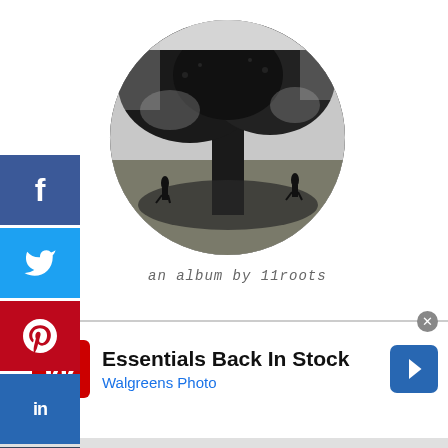[Figure (illustration): Social media share buttons sidebar: Facebook (blue), Twitter (light blue), Pinterest (red), LinkedIn (blue), Tumblr (dark blue)]
[Figure (photo): Circular black-and-white album art photo showing a large tree in a park with small silhouettes of people in the background]
an album by 11roots
[Figure (infographic): Walgreens advertisement banner: 'Essentials Back In Stock' with Walgreens Photo branding, red W logo, blue arrow button, close button, infolinks label, and play button icons]